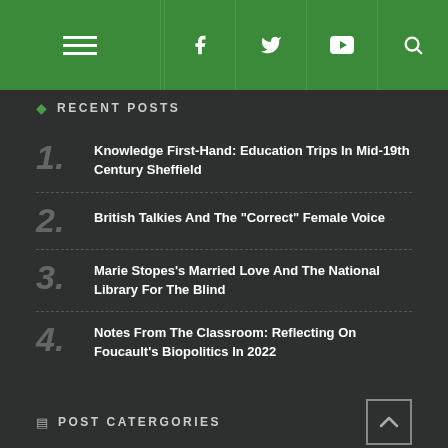Navigation header with hamburger menu, social icons (Facebook, Twitter, YouTube), and search icon
RECENT POSTS
Knowledge First-Hand: Education Trips In Mid-19th Century Sheffield
British Talkies And The "Correct" Female Voice
Marie Stopes's Married Love And The National Library For The Blind
Notes From The Classroom: Reflecting On Foucault's Biopolitics In 2022
POST CATERGORIES